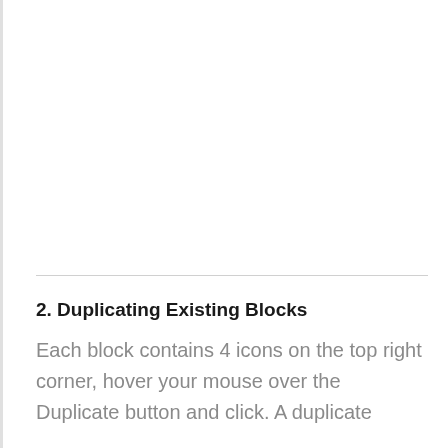2. Duplicating Existing Blocks
Each block contains 4 icons on the top right corner, hover your mouse over the Duplicate button and click. A duplicate